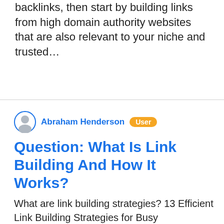backlinks, then start by building links from high domain authority websites that are also relevant to your niche and trusted…
Abraham Henderson  User
Question: What Is Link Building And How It Works?
What are link building strategies? 13 Efficient Link Building Strategies for Busy MarketersUse Strategic Guest Blogging.Create and Distribute Infographics....Get Active on Social Media....Use Resource Links From Trusted Sites....Leverage the Broken Links Strategy....Grow Your Personal Brand....Check Competitor's Backlinks....Replicate Best Links From Competitors More items... What is link